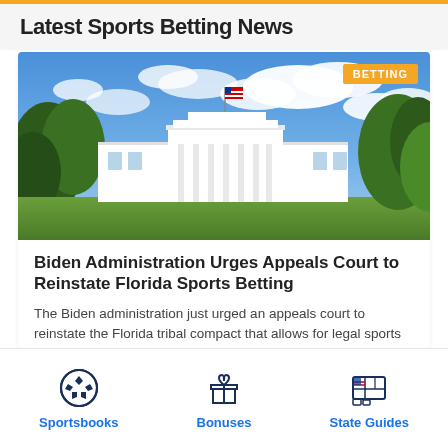Latest Sports Betting News
[Figure (photo): White House building with blue sky and clouds, trees on left and right]
Biden Administration Urges Appeals Court to Reinstate Florida Sports Betting
The Biden administration just urged an appeals court to reinstate the Florida tribal compact that allows for legal sports betting, so we take a look.
Sportsbooks
Bonuses
State Guides